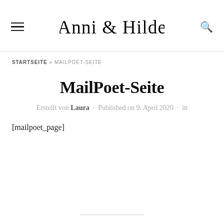Anni & Hilde
STARTSEITE » MAILPOET-SEITE
MailPoet-Seite
Erstellt von Laura · Published on 9. April 2020 · in
[mailpoet_page]